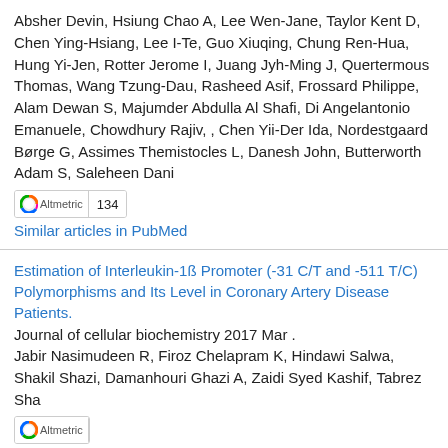Absher Devin, Hsiung Chao A, Lee Wen-Jane, Taylor Kent D, Chen Ying-Hsiang, Lee I-Te, Guo Xiuqing, Chung Ren-Hua, Hung Yi-Jen, Rotter Jerome I, Juang Jyh-Ming J, Quertermous Thomas, Wang Tzung-Dau, Rasheed Asif, Frossard Philippe, Alam Dewan S, Majumder Abdulla Al Shafi, Di Angelantonio Emanuele, Chowdhury Rajiv, , Chen Yii-Der Ida, Nordestgaard Børge G, Assimes Themistocles L, Danesh John, Butterworth Adam S, Saleheen Dani
[Figure (other): Altmetric badge showing score 134]
Similar articles in PubMed
Estimation of Interleukin-1ß Promoter (-31 C/T and -511 T/C) Polymorphisms and Its Level in Coronary Artery Disease Patients.
Journal of cellular biochemistry 2017 Mar .
Jabir Nasimudeen R, Firoz Chelapram K, Hindawi Salwa, Shakil Shazi, Damanhouri Ghazi A, Zaidi Syed Kashif, Tabrez Sha
[Figure (other): Altmetric badge with no score]
Similar articles in PubMed
IL-8 -251A/T polymorphism contributes to coronary artery susceptibility in a Chinese population.
Genetics and molecular research : GMR 2017 Feb 16 (1): .
Zhang R, Li X D, Zhang S W, Li Y H, Wu